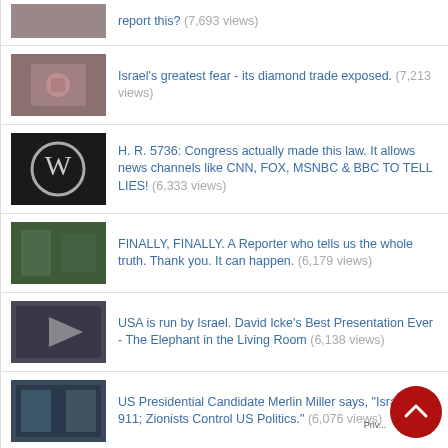report this? (7,693 views)
Israel's greatest fear - its diamond trade exposed. (7,213 views)
H. R. 5736: Congress actually made this law. It allows news channels like CNN, FOX, MSNBC & BBC TO TELL LIES! (6,333 views)
FINALLY, FINALLY. A Reporter who tells us the whole truth. Thank you. It can happen. (6,179 views)
USA is run by Israel. David Icke's Best Presentation Ever - The Elephant in the Living Room (6,138 views)
US Presidential Candidate Merlin Miller says, "Israel Did 911; Zionists Control US Politics." (6,076 views)
How the Saudis, Israel & the US started ISIS. (5,941 views)
The Hillary Child-Sex Tape is Worse than you ca...